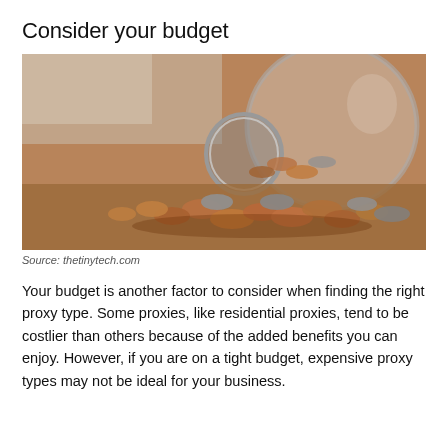Consider your budget
[Figure (photo): A glass jar tipped on its side with coins spilling out onto a surface, warm brown tones, shallow depth of field.]
Source: thetinytech.com
Your budget is another factor to consider when finding the right proxy type. Some proxies, like residential proxies, tend to be costlier than others because of the added benefits you can enjoy. However, if you are on a tight budget, expensive proxy types may not be ideal for your business.